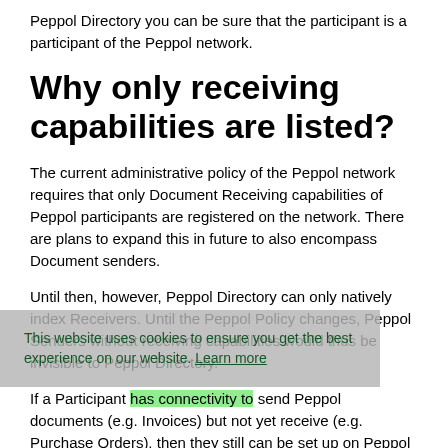Peppol Directory you can be sure that the participant is a participant of the Peppol network.
Why only receiving capabilities are listed?
The current administrative policy of the Peppol network requires that only Document Receiving capabilities of Peppol participants are registered on the network. There are plans to expand this in future to also encompass Document senders.
Until then, however, Peppol Directory can only natively index Receivers. Until the Peppol Policy changes, Peppol Senders without receiving capabilities would thus be invisible to Peppol Directory.
This website uses cookies to ensure you get the best experience on our website. Learn more
If a Participant has connectivity to send Peppol documents (e.g. Invoices) but not yet receive (e.g. Purchase Orders), then they still can be set up on Peppol Directory by means